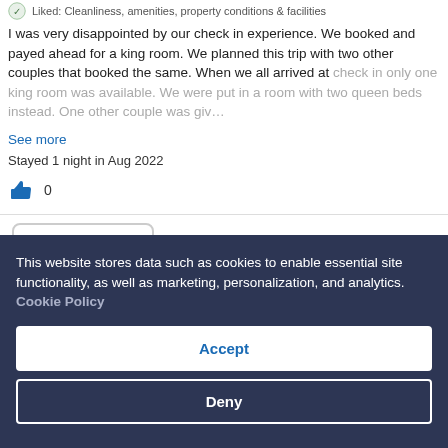Liked: Cleanliness, amenities, property conditions & facilities
I was very disappointed by our check in experience. We booked and payed ahead for a king room. We planned this trip with two other couples that booked the same. When we all arrived at check in only one king room was available. We were put in a room with two queen beds instead. One other couple was giv…
See more
Stayed 1 night in Aug 2022
0
See all reviews
This website stores data such as cookies to enable essential site functionality, as well as marketing, personalization, and analytics. Cookie Policy
Accept
Deny